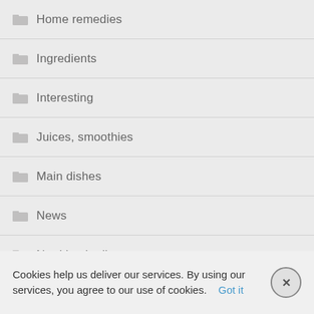Home remedies
Ingredients
Interesting
Juices, smoothies
Main dishes
News
Nutrition in disease
Pregnancy and lactation
Cookies help us deliver our services. By using our services, you agree to our use of cookies.    Got it